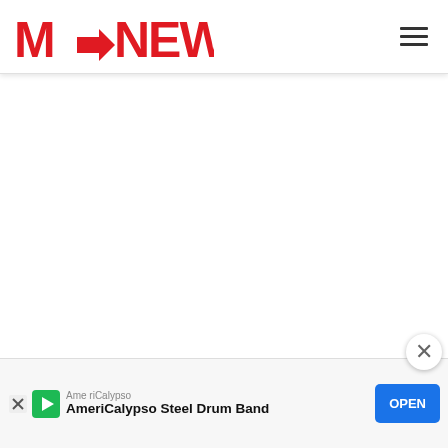M→NEWS (navigation header with hamburger menu)
[Figure (other): Large blank white content area below header, representing a loading or empty page body]
[Figure (other): Advertisement banner at bottom: AmeriCalypso Steel Drum Band with OPEN button and close X overlay button]